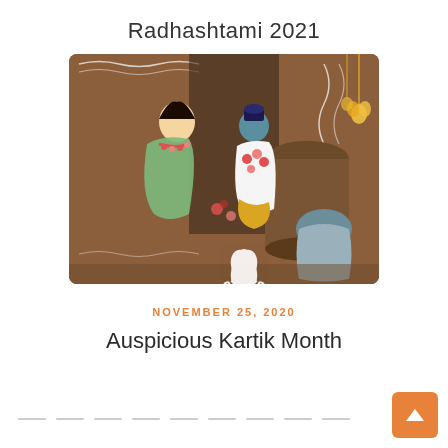Radhashtami 2021
[Figure (photo): Photo of two Hindu deity figures (Radha and Krishna) adorned with flower garlands and traditional attire, set against a decorative brown background with white ornamental designs. A devotee is visible in the foreground. A white lotus icon overlaid at the bottom center.]
NOVEMBER 25, 2020
Auspicious Kartik Month